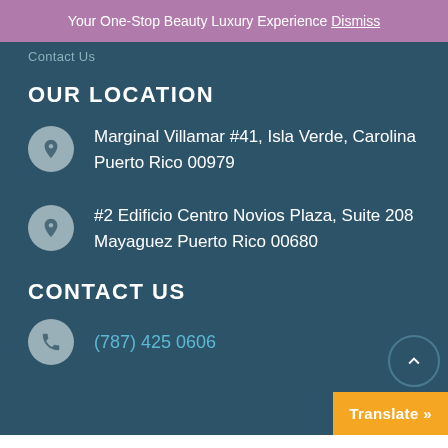Your One-Stop Beauty Luxury Experience Dismiss
Contact Us
OUR LOCATION
Marginal Villamar #41, Isla Verde, Carolina Puerto Rico 00979
#2 Edificio Centro Novios Plaza, Suite 208 Mayaguez Puerto Rico 00680
CONTACT US
(787) 425 0606